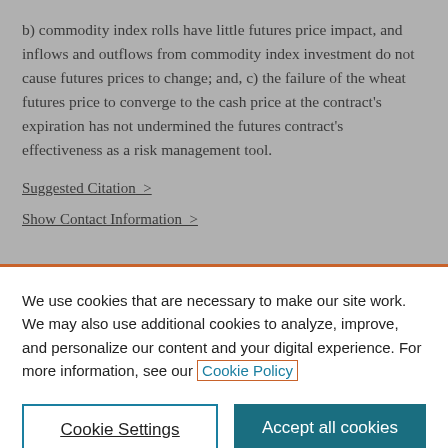b) commodity index rolls have little futures price impact, and inflows and outflows from commodity index investment do not cause futures prices to change; and, c) the failure of the wheat futures price to converge to the cash price at the contract's expiration has not undermined the futures contract's effectiveness as a risk management tool.
Suggested Citation >
Show Contact Information >
We use cookies that are necessary to make our site work. We may also use additional cookies to analyze, improve, and personalize our content and your digital experience. For more information, see our Cookie Policy
Cookie Settings
Accept all cookies